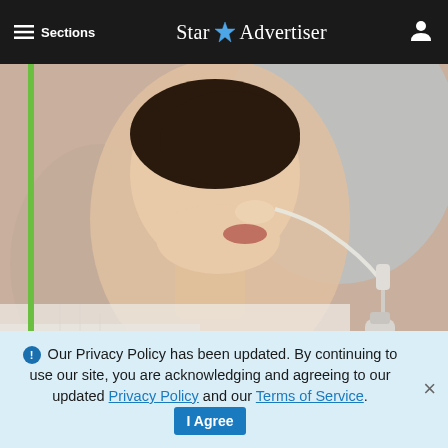≡ Sections   Star ✦ Advertiser   👤
[Figure (photo): Close-up profile photo of a woman with a nasal cannula oxygen tube inserted, wearing a white garment, against a soft background.]
How Much Does a Portable Oxygen Concentrator Cost? Could Surprise
ADVERTISEMENT
ℹ Our Privacy Policy has been updated. By continuing to use our site, you are acknowledging and agreeing to our updated Privacy Policy and our Terms of Service. I Agree